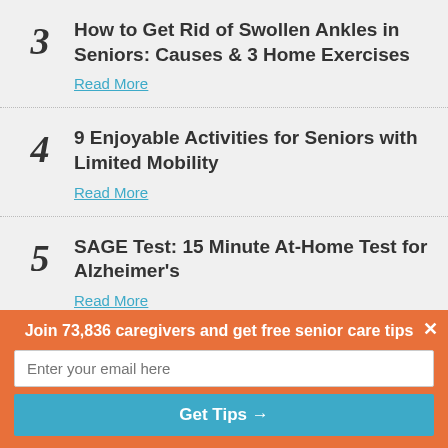3 How to Get Rid of Swollen Ankles in Seniors: Causes & 3 Home Exercises — Read More
4 9 Enjoyable Activities for Seniors with Limited Mobility — Read More
5 SAGE Test: 15 Minute At-Home Test for Alzheimer's — Read More
Join 73,836 caregivers and get free senior care tips
Enter your email here
Get Tips →